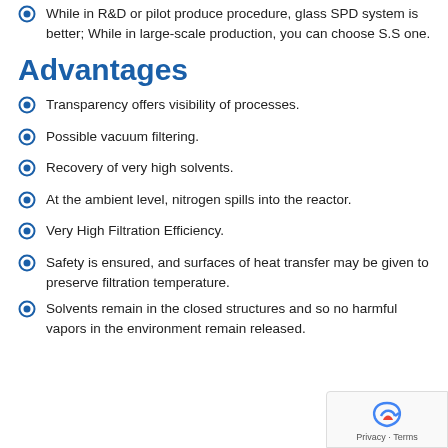While in R&D or pilot produce procedure, glass SPD system is better; While in large-scale production, you can choose S.S one.
Advantages
Transparency offers visibility of processes.
Possible vacuum filtering.
Recovery of very high solvents.
At the ambient level, nitrogen spills into the reactor.
Very High Filtration Efficiency.
Safety is ensured, and surfaces of heat transfer may be given to preserve filtration temperature.
Solvents remain in the closed structures and so no harmful vapors in the environment remain released.